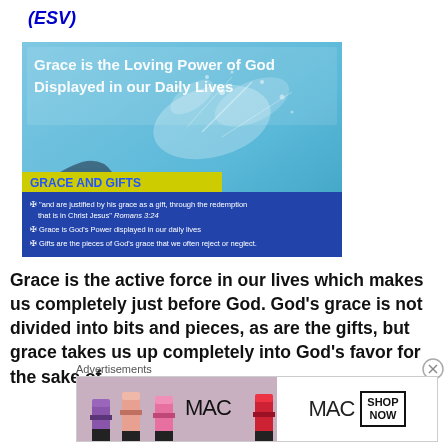(ESV)
[Figure (illustration): Slide image showing hands under running water with text 'Grace is the Loving Power of God Displayed in our Daily Lives', a yellow banner saying 'GRACE AND GIFTS', and a blue bullet-point section below with scripture quote Romans 3:24 and two bullet points about grace and gifts.]
Grace is the active force in our lives which makes us completely just before God. God’s grace is not divided into bits and pieces, as are the gifts, but grace takes us up completely into God’s favor for the sake of
Advertisements
[Figure (screenshot): MAC cosmetics advertisement showing lipsticks and text MAC SHOP NOW]